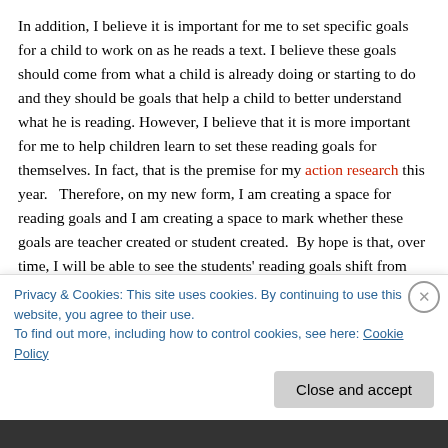In addition, I believe it is important for me to set specific goals for a child to work on as he reads a text. I believe these goals should come from what a child is already doing or starting to do and they should be goals that help a child to better understand what he is reading. However, I believe that it is more important for me to help children learn to set these reading goals for themselves. In fact, that is the premise for my action research this year.   Therefore, on my new form, I am creating a space for reading goals and I am creating a space to mark whether these goals are teacher created or student created.  By hope is that, over time, I will be able to see the students' reading goals shift from being primarily teacher-created to primarily student-created.  If there is a spot on the conference from to mark this distinction, students will see that ultimately, I want these goals to be something that they create
Privacy & Cookies: This site uses cookies. By continuing to use this website, you agree to their use.
To find out more, including how to control cookies, see here: Cookie Policy